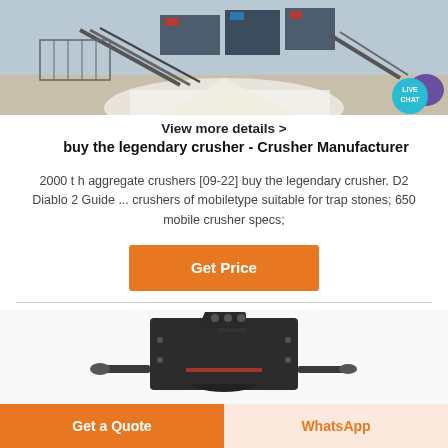[Figure (photo): Industrial crusher equipment at a quarry/mining site, aerial view with machinery and conveyors]
View more details >
buy the legendary crusher - Crusher Manufacturer
2000 t h aggregate crushers [09-22] buy the legendary crusher. D2 Diablo 2 Guide ... crushers of mobiletype suitable for trap stones; 650 mobile crusher specs;
[Figure (other): Orange 'Get Price' button]
[Figure (photo): Dark grey industrial crusher machine component, close-up photo]
[Figure (other): Bottom navigation buttons: 'Get a Quote' (orange) and 'WhatsApp' (light orange text)]